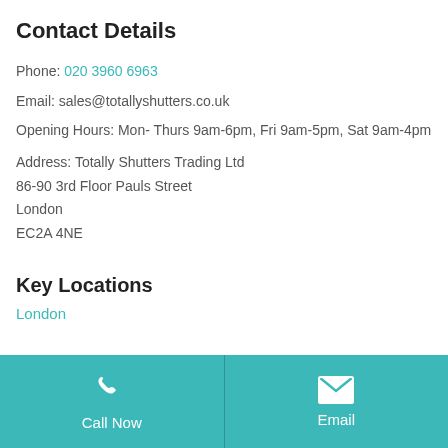Contact Details
Phone: 020 3960 6963
Email: sales@totallyshutters.co.uk
Opening Hours: Mon- Thurs 9am-6pm, Fri 9am-5pm, Sat 9am-4pm
Address: Totally Shutters Trading Ltd
86-90 3rd Floor Pauls Street
London
EC2A 4NE
Key Locations
London
Call Now
Email